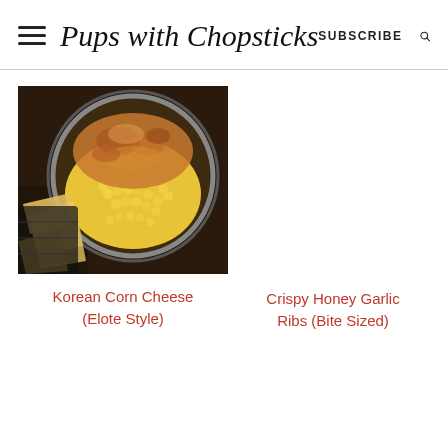Pups with Chopsticks | SUBSCRIBE
[Figure (photo): Overhead photo of Korean corn cheese in a round baking dish with melted, browned cheese on top and corn kernels visible. Chips are visible on the left side in a black basket on a dark wooden surface.]
Korean Corn Cheese (Elote Style)
Crispy Honey Garlic Ribs (Bite Sized)